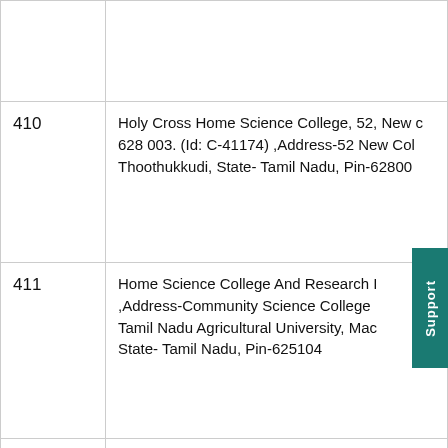| No. | Institution Details |
| --- | --- |
| 410 | Holy Cross Home Science College, 52, New C... 628 003. (Id: C-41174) ,Address-52 New Col... Thoothukkudi, State- Tamil Nadu, Pin-62800 |
| 411 | Home Science College And Research I... ,Address-Community Science College... Tamil Nadu Agricultural University, Mac... State- Tamil Nadu, Pin-625104 |
| 412 | Kamaraj College, Tiruchendur Road, Tuticor... 41209) ,Address-Kamaraj College Thruche... Thoothukkudi, State- Tamil Nadu, Pin-62800 |